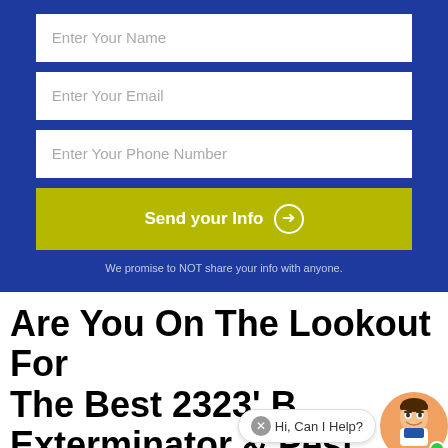[Figure (screenshot): Web form with blue background containing three input fields (Enter Your Name, Enter Your Email, Enter Your Phone Number), a yellow Send your Info button with circle arrow icon, and privacy text]
We promise to NOT share your info with anyone.
Are You On The Lookout For The Best 2323' Bed Bug Exterminator & Pest Control
[Figure (other): Chat widget with Hi, Can I Help? bubble and avatar of man with beard and glasses, green online indicator dot]